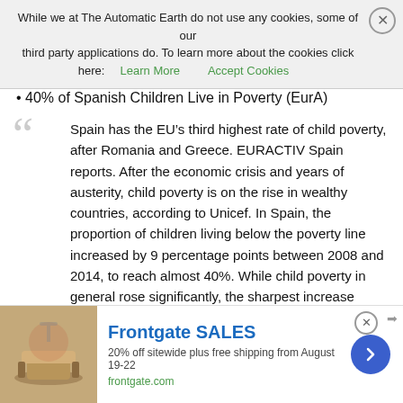And the children we do have, we treat like this. No wonder there are fewer of them.
While we at The Automatic Earth do not use any cookies, some of our third party applications do. To learn more about the cookies click here: Learn More   Accept Cookies
40% of Spanish Children Live in Poverty (EurA)
Spain has the EU’s third highest rate of child poverty, after Romania and Greece. EURACTIV Spain reports. After the economic crisis and years of austerity, child poverty is on the rise in wealthy countries, according to Unicef. In Spain, the proportion of children living below the poverty line increased by 9 percentage points between 2008 and 2014, to reach almost 40%. While child poverty in general rose significantly, the sharpest increase (56%) was among households of four people (two adults and two children) living on less than €700 per month, or €8,400 per year. Spain has the third widest gap in the EU, behind Latvia and Cyprus, between the levels of social protection offered to children and people over 65. During the crisis, Spain’s oldest citizens were much better protected than its youngest.
[Figure (other): Frontgate advertisement banner: outdoor furniture image, 'Frontgate SALES - 20% off sitewide plus free shipping from August 19-22, frontgate.com']